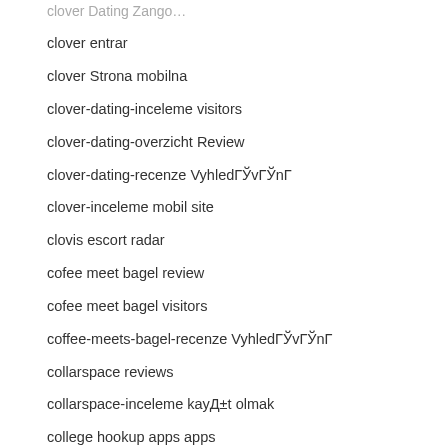clover Dating Zango… (partial)
clover entrar
clover Strona mobilna
clover-dating-inceleme visitors
clover-dating-overzicht Review
clover-dating-recenze VyhledГЎvГЎnГ
clover-inceleme mobil site
clovis escort radar
cofee meet bagel review
cofee meet bagel visitors
coffee-meets-bagel-recenze VyhledГЎvГЎnГ
collarspace reviews
collarspace-inceleme kayД±t olmak
college hookup apps apps
College Hookup Apps review